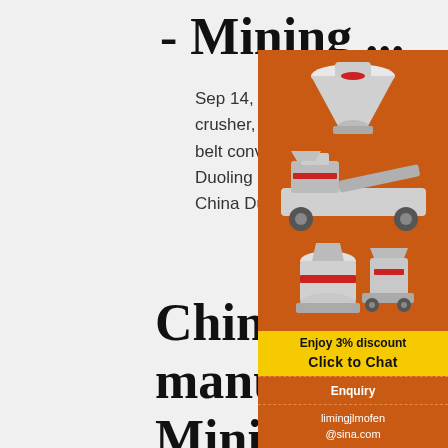- Mining ...
Sep 14, 2021 · DUOLING Supplies high-quality crushers, jaw crusher, cone crusher, mobile crusher and sand maker as the main products, and feeder, belt conveyor and powder separator as the mating equipment. :::Bulkbuy Duoling Factory 200tph Construction Jaw Crusher for Sale price comp get China Duoling Factory 200tph Highway Co Jaw Crusher for Sale price
China Cone Crus manufacturer, Mining Machine, Quarry ...
[Figure (infographic): Orange advertisement panel showing mining/crushing machines (cone crusher, jaw crusher, mobile crusher), a yellow 'Enjoy 3% discount' banner, a yellow 'Click to Chat' button, an Enquiry section, and email limingjlmofen@sina.com]
Duoling Quarry Mining Ore Stone Crushing Machine PE Series Jaw Crusher Machine Plant FOB